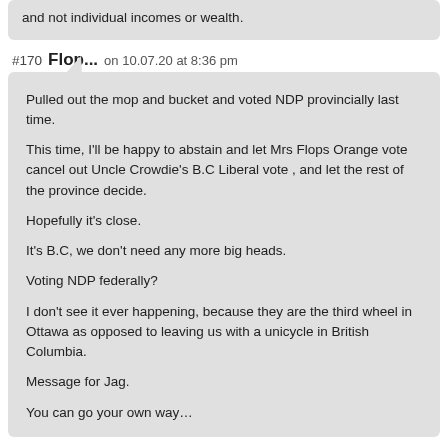and not individual incomes or wealth.
#170 Flop... on 10.07.20 at 8:36 pm
Pulled out the mop and bucket and voted NDP provincially last time.

This time, I'll be happy to abstain and let Mrs Flops Orange vote cancel out Uncle Crowdie's B.C Liberal vote , and let the rest of the province decide.

Hopefully it's close.

It's B.C, we don't need any more big heads.

Voting NDP federally?

I don't see it ever happening, because they are the third wheel in Ottawa as opposed to leaving us with a unicycle in British Columbia.

Message for Jag.

You can go your own way…